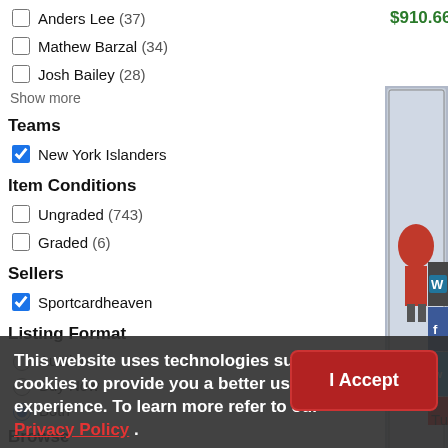Anders Lee (37)
Mathew Barzal (34)
Josh Bailey (28)
Show more
Teams
New York Islanders
Item Conditions
Ungraded (743)
Graded (6)
Sellers
Sportcardheaven
Listing Format
Auction
Buy Now
Both
Browse
Hockey (748)
$910.66
2011-12 SPx - Au Buybacks #TC3
Doug Weight #/3
$646.30
This website uses technologies such as cookies to provide you a better user experience. To learn more refer to our Privacy Policy .